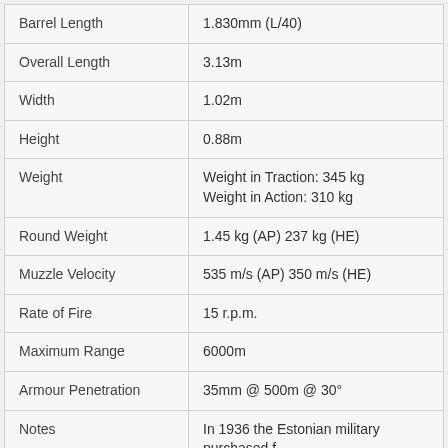| Property | Value |
| --- | --- |
| Barrel Length | 1.830mm (L/40) |
| Overall Length | 3.13m |
| Width | 1.02m |
| Height | 0.88m |
| Weight | Weight in Traction: 345 kg
Weight in Action: 310 kg |
| Round Weight | 1.45 kg (AP) 237 kg (HE) |
| Muzzle Velocity | 535 m/s (AP) 350 m/s (HE) |
| Rate of Fire | 15 r.p.m. |
| Maximum Range | 6000m |
| Armour Penetration | 35mm @ 500m @ 30° |
| Notes | In 1936 the Estonian military purchased f |